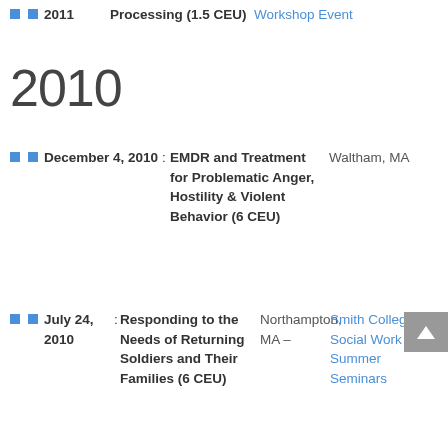2011 Processing (1.5 CEU) Workshop Event
2010
December 4, 2010: EMDR and Treatment for Problematic Anger, Hostility & Violent Behavior (6 CEU) Waltham, MA
July 24, 2010: Responding to the Needs of Returning Soldiers and Their Families (6 CEU) Northampton, MA – Smith College Social Work Summer Seminars .